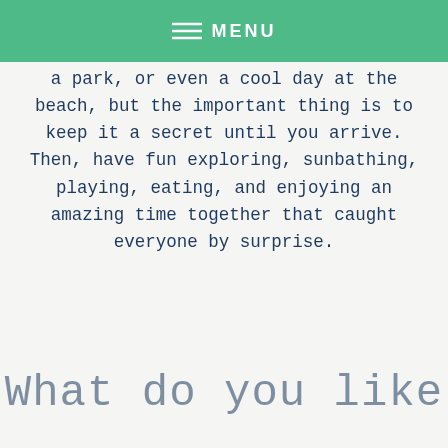MENU
a park, or even a cool day at the beach, but the important thing is to keep it a secret until you arrive. Then, have fun exploring, sunbathing, playing, eating, and enjoying an amazing time together that caught everyone by surprise.
What do you like
We use cookies to optimize our website and our service.
Accept
Disclosures